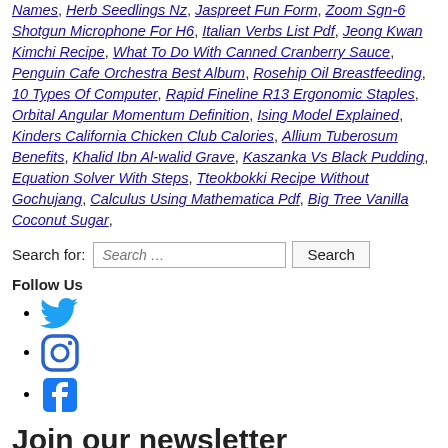Names, Herb Seedlings Nz, Jaspreet Fun Form, Zoom Sgn-6 Shotgun Microphone For H6, Italian Verbs List Pdf, Jeong Kwan Kimchi Recipe, What To Do With Canned Cranberry Sauce, Penguin Cafe Orchestra Best Album, Rosehip Oil Breastfeeding, 10 Types Of Computer, Rapid Fineline R13 Ergonomic Staples, Orbital Angular Momentum Definition, Ising Model Explained, Kinders California Chicken Club Calories, Allium Tuberosum Benefits, Khalid Ibn Al-walid Grave, Kaszanka Vs Black Pudding, Equation Solver With Steps, Tteokbokki Recipe Without Gochujang, Calculus Using Mathematica Pdf, Big Tree Vanilla Coconut Sugar,
Search for: [Search ...] [Search]
Follow Us
Twitter icon
Instagram icon
Facebook icon
Join our newsletter